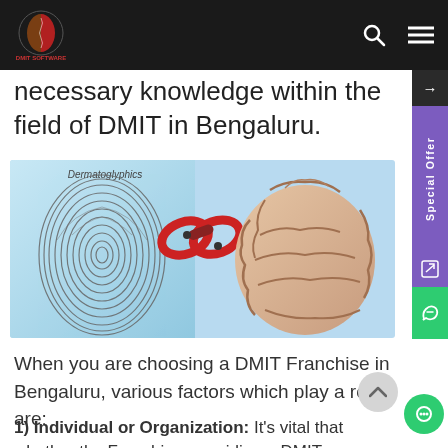DMIT Software navigation bar
necessary knowledge within the field of DMIT in Bengaluru.
[Figure (illustration): Image showing a fingerprint labeled 'Dermatoglyphics' on the left, a red chain link in the center, and a 3D rendered human brain on the right, symbolizing the connection between dermatoglyphics and brain science.]
When you are choosing a DMIT Franchise in Bengaluru, various factors which play a role are:
1) Individual or Organization: It's vital that whether the Franchiser providing a DMIT